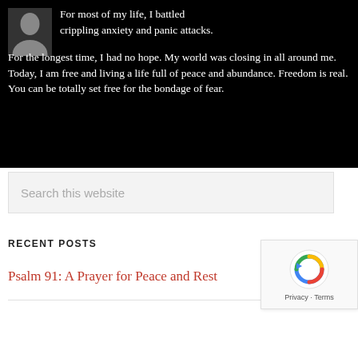[Figure (photo): Black background box with a grey avatar silhouette icon and a testimonial quote in white text: 'For most of my life, I battled crippling anxiety and panic attacks. For the longest time, I had no hope. My world was closing in all around me. Today, I am free and living a life full of peace and abundance. Freedom is real. You can be totally set free for the bondage of fear.']
Search this website
RECENT POSTS
Psalm 91: A Prayer for Peace and Rest